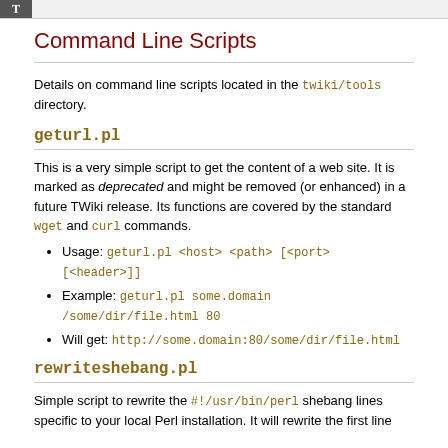T
Command Line Scripts
Details on command line scripts located in the twiki/tools directory.
geturl.pl
This is a very simple script to get the content of a web site. It is marked as deprecated and might be removed (or enhanced) in a future TWiki release. Its functions are covered by the standard wget and curl commands.
Usage: geturl.pl <host> <path> [<port> [<header>]]
Example: geturl.pl some.domain /some/dir/file.html 80
Will get: http://some.domain:80/some/dir/file.html
rewriteshebang.pl
Simple script to rewrite the #!/usr/bin/perl shebang lines specific to your local Perl installation. It will rewrite the first line